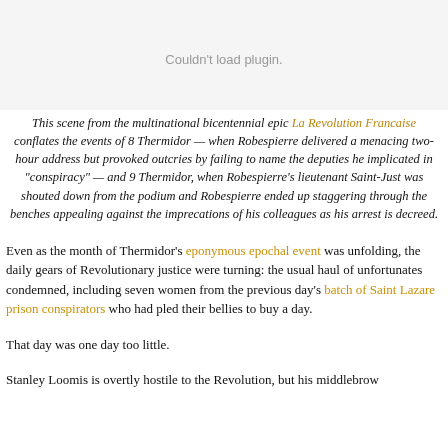[Figure (other): Plugin placeholder area — grey background with 'Couldn't load plugin.' message]
This scene from the multinational bicentennial epic La Revolution Francaise conflates the events of 8 Thermidor — when Robespierre delivered a menacing two-hour address but provoked outcries by failing to name the deputies he implicated in "conspiracy" — and 9 Thermidor, when Robespierre's lieutenant Saint-Just was shouted down from the podium and Robespierre ended up staggering through the benches appealing against the imprecations of his colleagues as his arrest is decreed.
Even as the month of Thermidor's eponymous epochal event was unfolding, the daily gears of Revolutionary justice were turning: the usual haul of unfortunates condemned, including seven women from the previous day's batch of Saint Lazare prison conspirators who had pled their bellies to buy a day.
That day was one day too little.
Stanley Loomis is overtly hostile to the Revolution, but his middlebrow